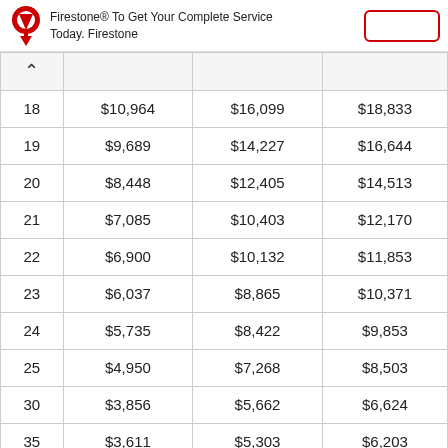Firestone® To Get Your Complete Service Today. Firestone
|  |  |  |  |
| --- | --- | --- | --- |
| 18 | $10,964 | $16,099 | $18,833 |
| 19 | $9,689 | $14,227 | $16,644 |
| 20 | $8,448 | $12,405 | $14,513 |
| 21 | $7,085 | $10,403 | $12,170 |
| 22 | $6,900 | $10,132 | $11,853 |
| 23 | $6,037 | $8,865 | $10,371 |
| 24 | $5,735 | $8,422 | $9,853 |
| 25 | $4,950 | $7,268 | $8,503 |
| 30 | $3,856 | $5,662 | $6,624 |
| 35 | $3,611 | $5,303 | $6,203 |
| 40 | $3,473 | $5,100 | $5,966 |